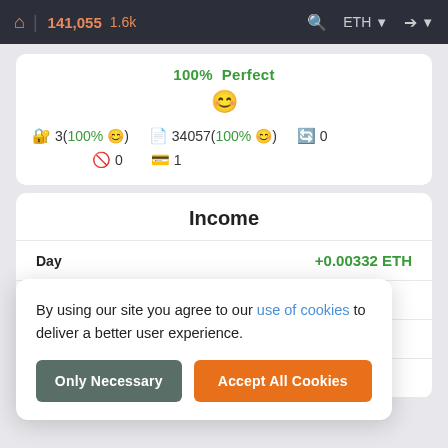141,055  1.6k  ETH
100% Perfect
3(100% 😊)   34057(100% 😊)   0   0   1
Income
| Label | Value |
| --- | --- |
| Day | +0.00332 ETH |
| W |  |
| M |  |
| All |  |
By using our site you agree to our use of cookies to deliver a better user experience.
Only Necessary | Accept All Cookies